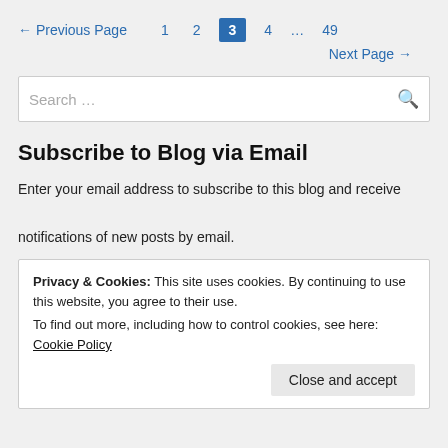← Previous Page   1   2   3   4   …   49   Next Page →
Search …
Subscribe to Blog via Email
Enter your email address to subscribe to this blog and receive notifications of new posts by email.
Privacy & Cookies: This site uses cookies. By continuing to use this website, you agree to their use.
To find out more, including how to control cookies, see here: Cookie Policy
Close and accept